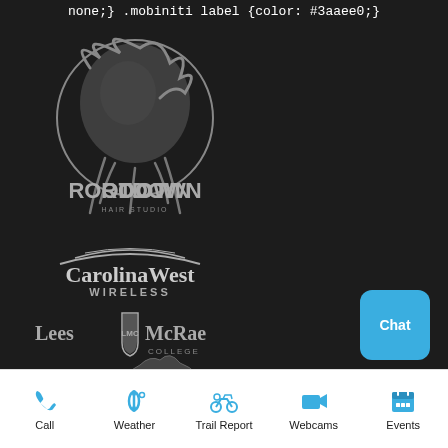none;} .mobiniti label {color: #3aaee0;}
[Figure (logo): Root Down Hair Studio circular logo in grey on dark background, showing a figure with flowing hair and text ROOT DOWN HAIR STUDIO]
[Figure (logo): CarolinaWest Wireless logo in grey/white on dark background]
[Figure (logo): Lees McRae College logo in grey on dark background]
[Figure (logo): Partial logo visible at bottom of dark area]
[Figure (other): Chat button - cyan/blue rounded rectangle with white Chat text]
[Figure (infographic): Bottom navigation bar with 5 items: Call (phone icon), Weather (thermometer icon), Trail Report (motorcycle icon), Webcams (camera icon), Events (calendar icon) - all in cyan/blue with black labels]